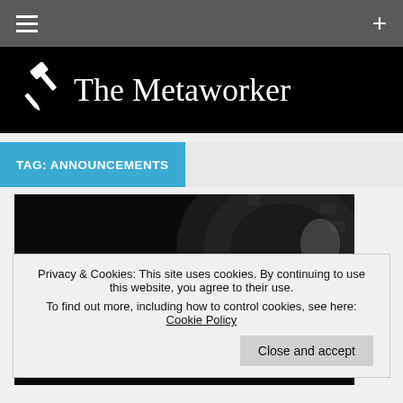≡  +
The Metaworker
TAG: ANNOUNCEMENTS
[Figure (photo): Black and white close-up photo showing 'The Metaworker Literary Maga[zine]' text overlaid on an industrial gear/tire background]
Privacy & Cookies: This site uses cookies. By continuing to use this website, you agree to their use.
To find out more, including how to control cookies, see here: Cookie Policy
Close and accept